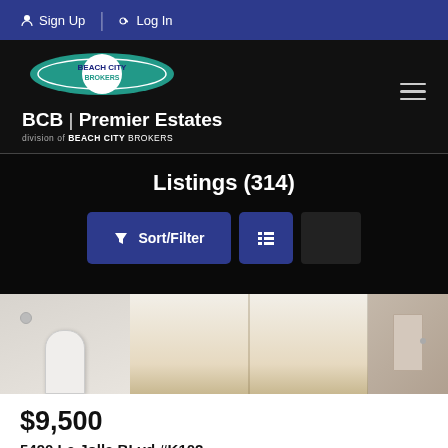Sign Up  Log In
[Figure (logo): Beach City Brokers logo with BCB Premier Estates text, division of BEACH CITY BROKERS]
Listings (314)
[Figure (photo): Interior hallway photo of property at 5490 La Jolla BLvd #K102]
$9,500
5490 La Jolla BLvd #K102
La Jolla, CA 92037
For Rent  |  1,080 sqft  |  1 bed  |  1 bath  |  #2200207925D